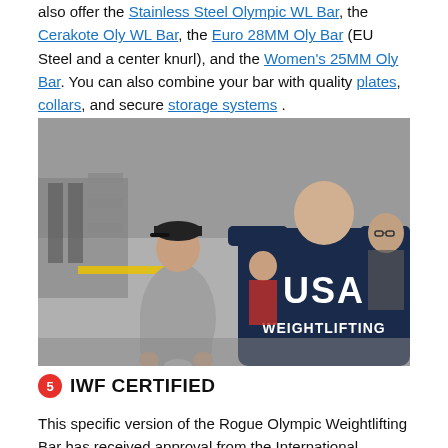also offer the Stainless Steel Olympic WL Bar, the Cerakote Oly WL Bar, the Euro 28MM Oly Bar (EU Steel and a center knurl), and the Women's 25MM Oly Bar. You can also combine your bar with quality plates, collars, and secure storage systems .
[Figure (photo): Photo of people in a warehouse/manufacturing floor. A person wearing a USA Weightlifting jacket is prominent in the foreground from behind, while another person in a grey shirt and black cap appears to be inspecting equipment.]
5 IWF CERTIFIED
This specific version of the Rogue Olympic Weightlifting Bar has received approval from the International Weightlifting Federation